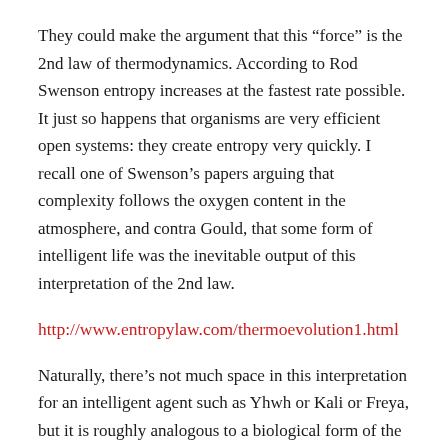They could make the argument that this “force” is the 2nd law of thermodynamics. According to Rod Swenson entropy increases at the fastest rate possible. It just so happens that organisms are very efficient open systems: they create entropy very quickly. I recall one of Swenson’s papers arguing that complexity follows the oxygen content in the atmosphere, and contra Gould, that some form of intelligent life was the inevitable output of this interpretation of the 2nd law.
http://www.entropylaw.com/thermoevolution1.html
Naturally, there’s not much space in this interpretation for an intelligent agent such as Yhwh or Kali or Freya, but it is roughly analogous to a biological form of the anthropic principle. IIRC even Stuart Kauffman argues for laws of complexity in _Origins of Order_. The hard